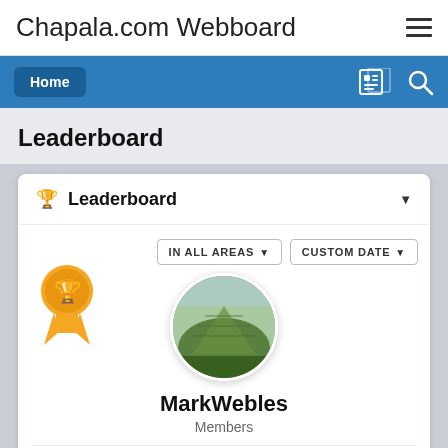Chapala.com Webboard
Leaderboard
🏆 Leaderboard
IN ALL AREAS▾  CUSTOM DATE▾
MarkWebles
Members
POINTS  POSTS